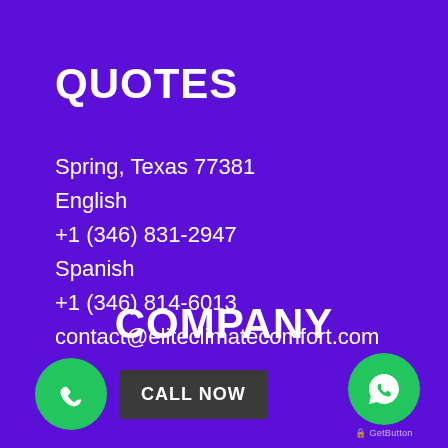QUOTES
Spring, Texas 77381
English
+1 (346) 831-2947
Spanish
+1 (346) 814-6013
contact@eliteclimatecomfort.com
COMPANY
CALL NOW
GetButton